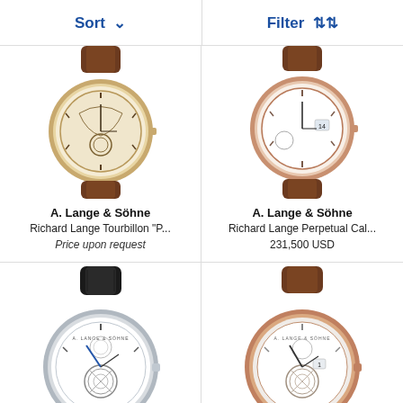Sort   Filter
[Figure (photo): A. Lange & Söhne watch with brown leather strap and ornate dial, partially cropped at top]
A. Lange & Söhne
Richard Lange Tourbillon "P...
Price upon request
[Figure (photo): A. Lange & Söhne watch with brown leather strap and white dial, partially cropped at top]
A. Lange & Söhne
Richard Lange Perpetual Cal...
231,500 USD
[Figure (photo): A. Lange & Söhne watch with black leather strap, white dial and tourbillon complication]
A. Lange & Söhne
[Figure (photo): A. Lange & Söhne watch with brown leather strap, white dial and tourbillon complication]
A. Lange & Söhne